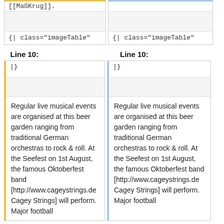[[MaßKrug]].
{| class="imageTable"
{| class="imageTable"
Line 10:
Line 10:
|}
|}
Regular live musical events are organised at this beer garden ranging from traditional German orchestras to rock & roll. At the Seefest on 1st August, the famous Oktoberfest band [http://www.cageystrings.de Cagey Strings] will perform. Major football
Regular live musical events are organised at this beer garden ranging from traditional German orchestras to rock & roll. At the Seefest on 1st August, the famous Oktoberfest band [http://www.cageystrings.de Cagey Strings] will perform. Major football